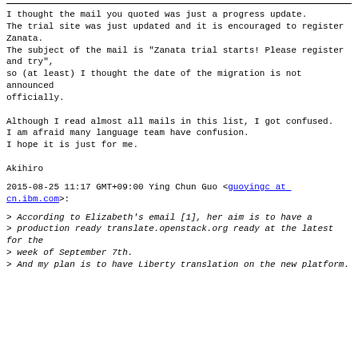I thought the mail you quoted was just a progress update.
The trial site was just updated and it is encouraged to register Zanata.
The subject of the mail is "Zanata trial starts! Please register and try",
so (at least) I thought the date of the migration is not announced
officially.

Although I read almost all mails in this list, I got confused.
I am afraid many language team have confusion.
I hope it is just for me.

Akihiro
2015-08-25 11:17 GMT+09:00 Ying Chun Guo <guoyingc at cn.ibm.com>:
> According to Elizabeth's email [1], her aim is to have a
> production ready translate.openstack.org ready at the latest for the
> week of September 7th.
> And my plan is to have Liberty translation on the new platform.